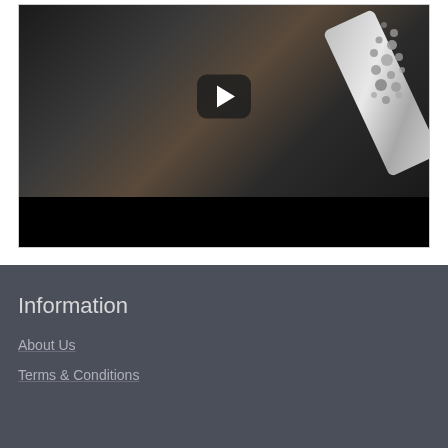[Figure (screenshot): A video thumbnail showing a bejeweled smartphone case on dark fabric background with a YouTube-style play button overlay]
Information
About Us
Terms & Conditions